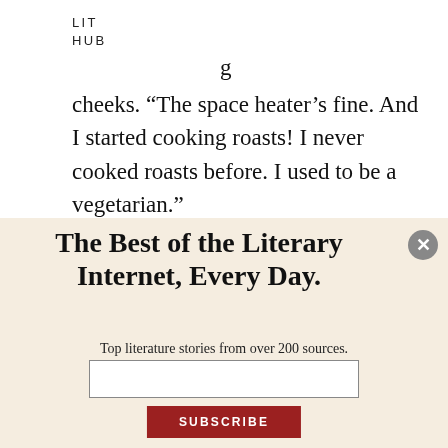LIT
HUB
cheeks. “The space heater’s fine. And I started cooking roasts! I never cooked roasts before. I used to be a vegetarian.”
Cal could only stare at her.
The Best of the Literary Internet, Every Day.
Top literature stories from over 200 sources.